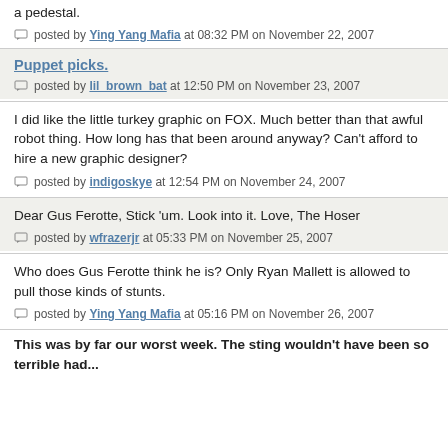a pedestal.
posted by Ying Yang Mafia at 08:32 PM on November 22, 2007
Puppet picks.
posted by lil_brown_bat at 12:50 PM on November 23, 2007
I did like the little turkey graphic on FOX. Much better than that awful robot thing. How long has that been around anyway? Can't afford to hire a new graphic designer?
posted by indigoskye at 12:54 PM on November 24, 2007
Dear Gus Ferotte, Stick 'um. Look into it. Love, The Hoser
posted by wfrazerjr at 05:33 PM on November 25, 2007
Who does Gus Ferotte think he is? Only Ryan Mallett is allowed to pull those kinds of stunts.
posted by Ying Yang Mafia at 05:16 PM on November 26, 2007
This was by far our worst week. The sting wouldn't have been so terrible had...